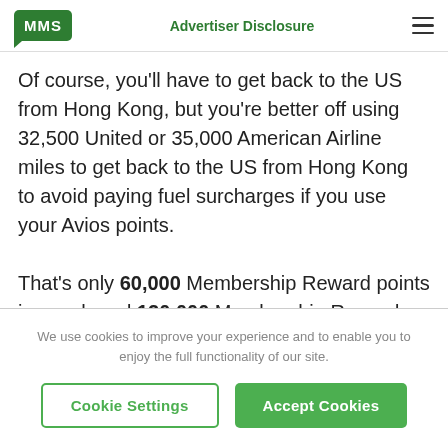MMS | Advertiser Disclosure
Of course, you'll have to get back to the US from Hong Kong, but you're better off using 32,500 United or 35,000 American Airline miles to get back to the US from Hong Kong to avoid paying fuel surcharges if you use your Avios points.
That's only 60,000 Membership Reward points in coach and 120,000 Membership Rewards
We use cookies to improve your experience and to enable you to enjoy the full functionality of our site.
Cookie Settings | Accept Cookies